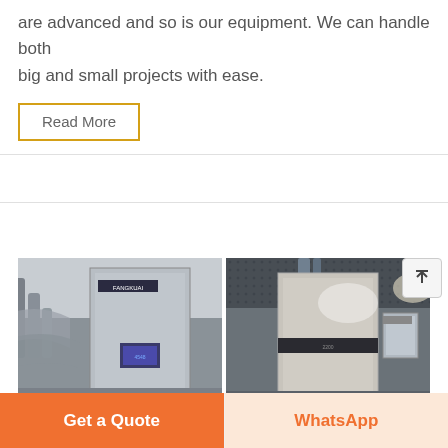are advanced and so is our equipment. We can handle both big and small projects with ease.
Read More
[Figure (photo): Industrial equipment photos showing FANGKUAI branded machinery/boilers in an industrial setting]
Get a Quote
WhatsApp